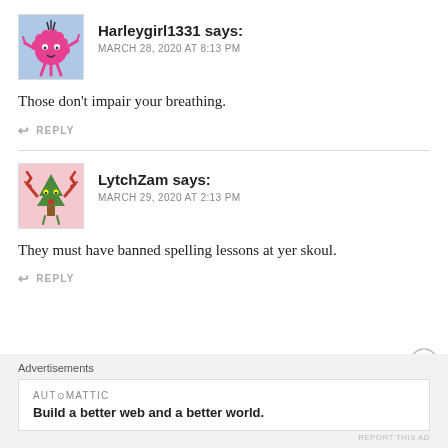[Figure (illustration): Cartoon avatar of Harleygirl1331: pink fuzzy creature with legs on light blue background]
Harleygirl1331 says:
MARCH 28, 2020 AT 8:13 PM
Those don't impair your breathing.
↩ REPLY
[Figure (illustration): Cartoon avatar of LytchZam: green Christmas tree character with red antlers on pink background]
LytchZam says:
MARCH 29, 2020 AT 2:13 PM
They must have banned spelling lessons at yer skoul.
↩ REPLY
Advertisements
AUT⊙MATTIC
Build a better web and a better world.